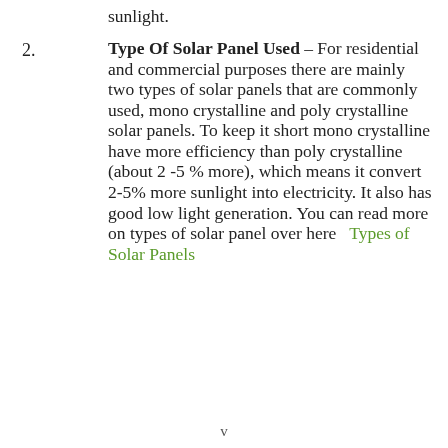sunlight.
Type Of Solar Panel Used – For residential and commercial purposes there are mainly two types of solar panels that are commonly used, mono crystalline and poly crystalline solar panels. To keep it short mono crystalline have more efficiency than poly crystalline (about 2 -5 % more), which means it convert 2-5% more sunlight into electricity. It also has good low light generation. You can read more on types of solar panel over here   Types of Solar Panels
v